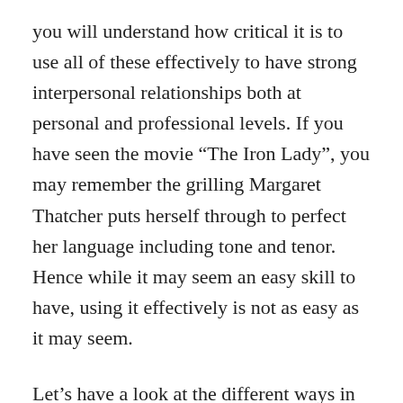you will understand how critical it is to use all of these effectively to have strong interpersonal relationships both at personal and professional levels. If you have seen the movie “The Iron Lady”, you may remember the grilling Margaret Thatcher puts herself through to perfect her language including tone and tenor. Hence while it may seem an easy skill to have, using it effectively is not as easy as it may seem.
Let’s have a look at the different ways in which we can help our children develop effective language skills: